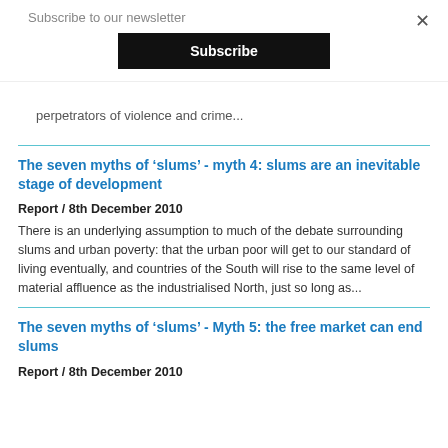Subscribe to our newsletter
Subscribe
perpetrators of violence and crime...
The seven myths of ‘slums’ - myth 4: slums are an inevitable stage of development
Report / 8th December 2010
There is an underlying assumption to much of the debate surrounding slums and urban poverty: that the urban poor will get to our standard of living eventually, and countries of the South will rise to the same level of material affluence as the industrialised North, just so long as...
The seven myths of ‘slums’ - Myth 5: the free market can end slums
Report / 8th December 2010